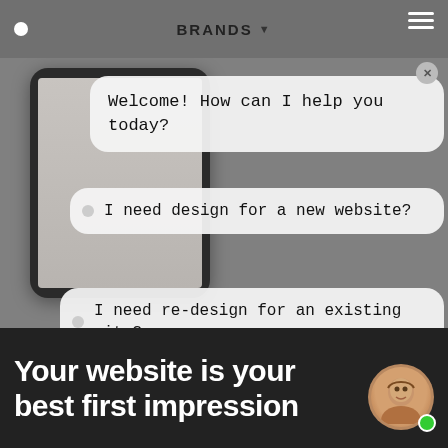BRANDS ▼
Welcome! How can I help you today?
I need design for a new website?
I need re-design for an existing site?
I need UX design?
I'm looking for pricing.
Your website is your best first impression